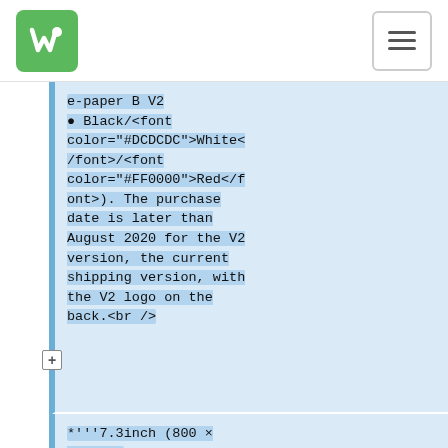Waveshare wiki header with logo and hamburger menu
e-paper B V2
● Black/<font color="#DCDCDC">White</font>/<font color="#FF0000">Red</font>). The purchase date is later than August 2020 for the V2 version, the current shipping version, with the V2 logo on the back.<br />
*'''7.3inch (800 × 480)'''
epd_7in3g_test.py: Example for 7inch3 e-paper G (Black/<font color="#DCDCDC">White<